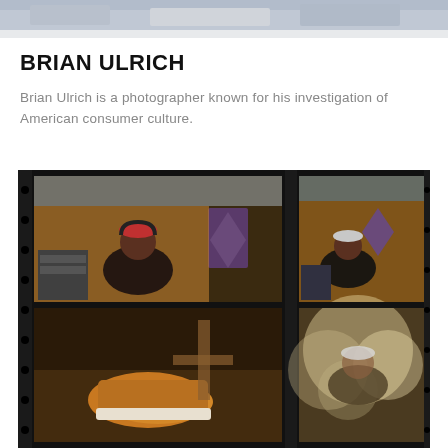[Figure (photo): Partial top edge of a photograph, cropped — appears to show feet/legs and scattered items on a surface]
BRIAN ULRICH
Brian Ulrich is a photographer known for his investigation of American consumer culture.
[Figure (photo): Film contact sheet showing six frames of a person wearing a baseball cap and headphones in a recording studio with acoustic panels. The right column shows blurred bokeh images of the same scene.]